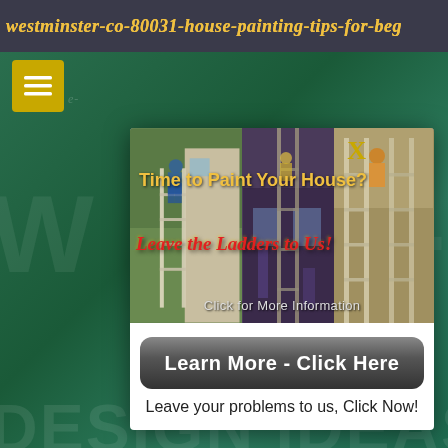westminster-co-80031-house-painting-tips-for-beg
[Figure (screenshot): A popup advertisement overlay on a webpage. The popup contains three side-by-side images of people on ladders painting houses, text 'Time to Paint Your House? Leave the Ladders to Us! Click for More Information', a 'Learn More - Click Here' button, and 'Leave your problems to us, Click Now!' text. Background shows a dark green gradient with large watermark letters.]
Time to Paint Your House?
Leave the Ladders to Us!
Click for More Information
Learn More - Click Here
Leave your problems to us, Click Now!